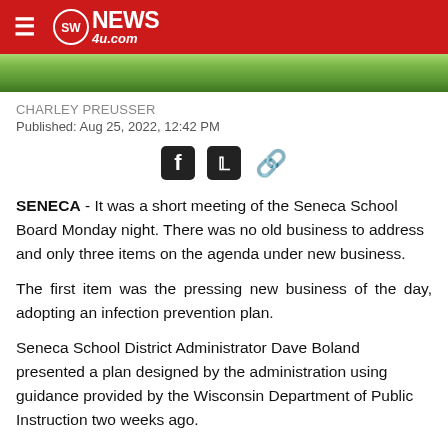SWNews4u.com
[Figure (photo): Grass/field photo strip]
CHARLEY PREUSSER
Published: Aug 25, 2022, 12:42 PM
[Figure (other): Social share icons: Facebook, Twitter, link]
SENECA - It was a short meeting of the Seneca School Board Monday night. There was no old business to address and only three items on the agenda under new business.
The first item was the pressing new business of the day, adopting an infection prevention plan.
Seneca School District Administrator Dave Boland presented a plan designed by the administration using guidance provided by the Wisconsin Department of Public Instruction two weeks ago.